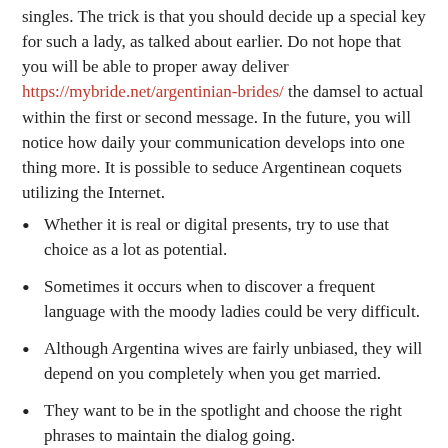singles. The trick is that you should decide up a special key for such a lady, as talked about earlier. Do not hope that you will be able to proper away deliver https://mybride.net/argentinian-brides/ the damsel to actual within the first or second message. In the future, you will notice how daily your communication develops into one thing more. It is possible to seduce Argentinean coquets utilizing the Internet.
Whether it is real or digital presents, try to use that choice as a lot as potential.
Sometimes it occurs when to discover a frequent language with the moody ladies could be very difficult.
Although Argentina wives are fairly unbiased, they will depend on you completely when you get married.
They want to be in the spotlight and choose the right phrases to maintain the dialog going.
Try to view all women that match your standards ahead of making the following step.
Argentinian brides are from these individuals who had